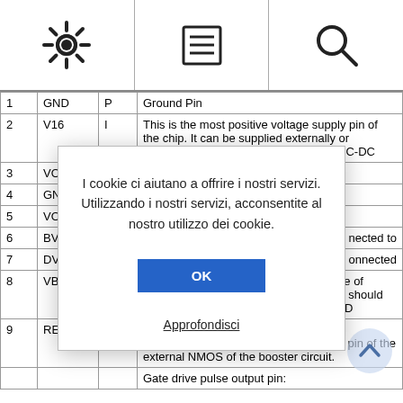[Figure (screenshot): Navigation bar with settings gear icon, document/menu icon, and search magnifier icon across three columns]
| # | Name | Type | Description |
| --- | --- | --- | --- |
| 1 | GND | P | Ground Pin |
| 2 | V16 | I | This is the most positive voltage supply pin of the chip. It can be supplied externally or generated internally by using internal DC-DC |
| 3 | VO |  |  |
| 4 | GN |  |  |
| 5 | VO |  |  |
| 6 | BV |  | ...nected to |
| 7 | DV |  | ...onnected |
| 8 | VBREF | O | This pin is the internal voltage reference of DCDC1 circuit. A stabilization capacitor should be connected between this pin and GND |
| 9 | RESE | I | NMOS source input pin:
This pin connects to the source current pin of the external NMOS of the booster circuit. |
|  |  |  | Gate drive pulse output pin: |
I cookie ci aiutano a offrire i nostri servizi. Utilizzando i nostri servizi, acconsentite al nostro utilizzo dei cookie.
OK
Approfondisci